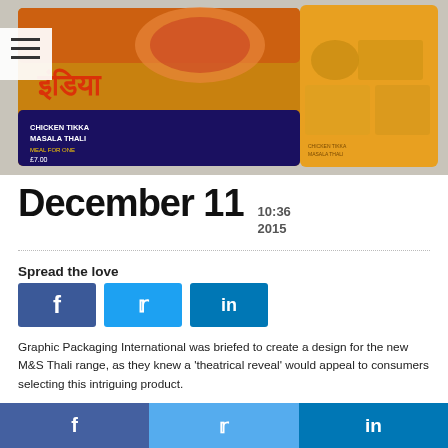[Figure (photo): Product photo showing Chicken Tikka Masala Thali meal kit packaging by M&S — a colorful box with Indian design elements shown from front and open/back angle revealing food compartments]
December 11  10:36  2015
Spread the love
Graphic Packaging International was briefed to create a design for the new M&S Thali range, as they knew a 'theatrical reveal' would appeal to consumers selecting this intriguing product.
"M&S is always at the forefront of new product innovation," commented GPI marketing manager Nikki Clark, "and educating their
f  t  in